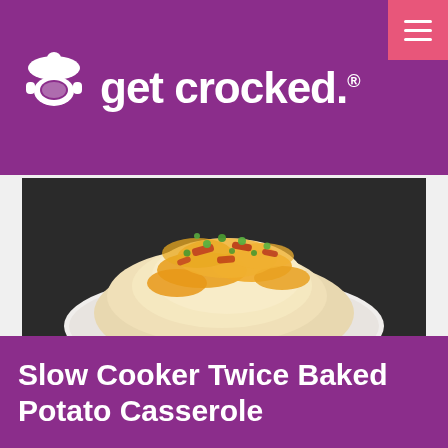[Figure (logo): Get Crocked logo — white acorn/crock-pot icon on purple background with text 'get crocked.' in white]
[Figure (photo): A white oval plate piled with cheesy twice-baked potato casserole topped with melted cheddar cheese, crumbled bacon, and chopped green onions, on a dark background]
Slow Cooker Twice Baked Potato Casserole